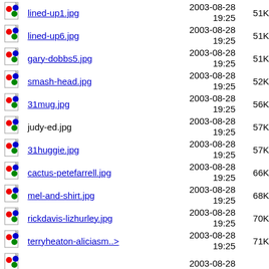lined-up1.jpg  2003-08-28 19:25  51K
lined-up6.jpg  2003-08-28 19:25  51K
gary-dobbs5.jpg  2003-08-28 19:25  51K
smash-head.jpg  2003-08-28 19:25  52K
31mug.jpg  2003-08-28 19:25  56K
judy-ed.jpg  2003-08-28 19:25  57K
31huggie.jpg  2003-08-28 19:25  57K
cactus-petefarrell.jpg  2003-08-28 19:25  66K
mel-and-shirt.jpg  2003-08-28 19:25  68K
rickdavis-lizhurley.jpg  2003-08-28 19:25  70K
terryheaton-aliciasm..>  2003-08-28 19:25  71K